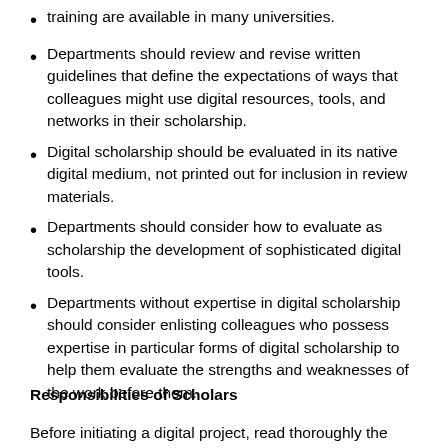training are available in many universities.
Departments should review and revise written guidelines that define the expectations of ways that colleagues might use digital resources, tools, and networks in their scholarship.
Digital scholarship should be evaluated in its native digital medium, not printed out for inclusion in review materials.
Departments should consider how to evaluate as scholarship the development of sophisticated digital tools.
Departments without expertise in digital scholarship should consider enlisting colleagues who possess expertise in particular forms of digital scholarship to help them evaluate the strengths and weaknesses of the work before them.
Responsibilities of Scholars
Before initiating a digital project, read thoroughly the